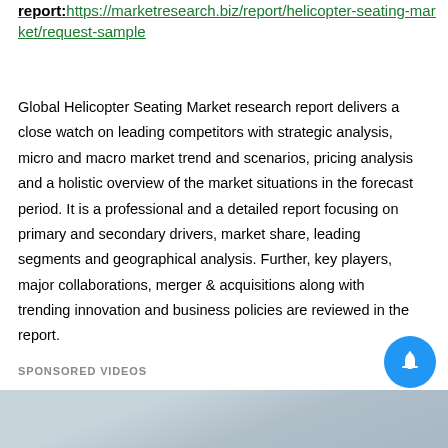report: https://marketresearch.biz/report/helicopter-seating-market/request-sample
Global Helicopter Seating Market research report delivers a close watch on leading competitors with strategic analysis, micro and macro market trend and scenarios, pricing analysis and a holistic overview of the market situations in the forecast period. It is a professional and a detailed report focusing on primary and secondary drivers, market share, leading segments and geographical analysis. Further, key players, major collaborations, merger & acquisitions along with trending innovation and business policies are reviewed in the report.
SPONSORED VIDEOS
[Figure (photo): Partially visible video thumbnail showing a foggy outdoor scene, used as a sponsored video preview.]